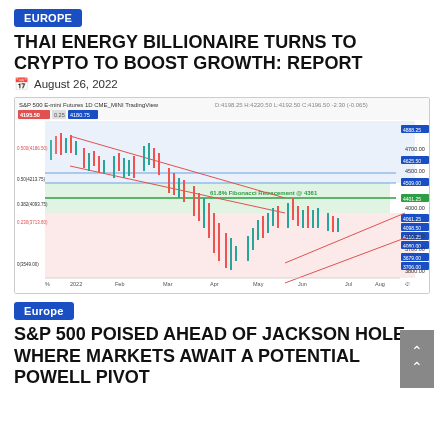EUROPE
THAI ENERGY BILLIONAIRE TURNS TO CRYPTO TO BOOST GROWTH: REPORT
August 26, 2022
[Figure (continuous-plot): S&P 500 E-mini Futures 1D CME_MINI TradingView chart showing price action from early 2022 through October 2022. Chart includes Fibonacci retracement zones, a descending wedge pattern, and a rising wedge recovery. Key level: 61.8% Fibonacci Retracement @ 4361. Green horizontal line at ~4401. Multiple colored horizontal zones: blue upper, green middle, pink lower. Candlestick price data shown from Jan 2022 to Sep 2022.]
Europe
S&P 500 POISED AHEAD OF JACKSON HOLE WHERE MARKETS AWAIT A POTENTIAL POWELL PIVOT